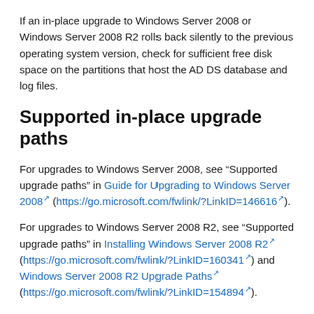If an in-place upgrade to Windows Server 2008 or Windows Server 2008 R2 rolls back silently to the previous operating system version, check for sufficient free disk space on the partitions that host the AD DS database and log files.
Supported in-place upgrade paths
For upgrades to Windows Server 2008, see "Supported upgrade paths" in Guide for Upgrading to Windows Server 2008 (https://go.microsoft.com/fwlink/?LinkID=146616).
For upgrades to Windows Server 2008 R2, see "Supported upgrade paths" in Installing Windows Server 2008 R2 (https://go.microsoft.com/fwlink/?LinkID=160341) and Windows Server 2008 R2 Upgrade Paths (https://go.microsoft.com/fwlink/?LinkID=154894).